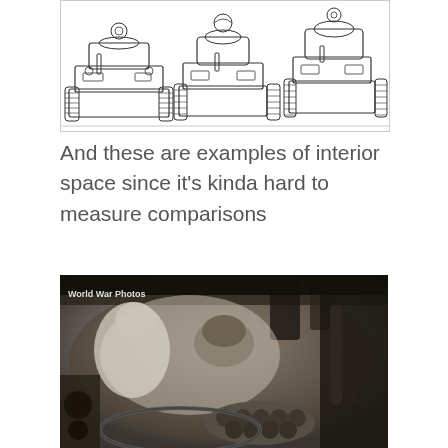[Figure (illustration): Line drawing / schematic illustration of three tanks shown from the front, side by side, for size comparison. Left tank appears widest, middle tank is medium, right tank is smaller/narrower.]
And these are examples of interior space since it's kinda hard to measure comparisons
[Figure (photo): Black and white photograph showing the cramped interior of a tank with crew members visible inside, surrounded by equipment, ammunition rounds, and mechanical components. Watermark reads 'World War Photos' in upper left corner.]